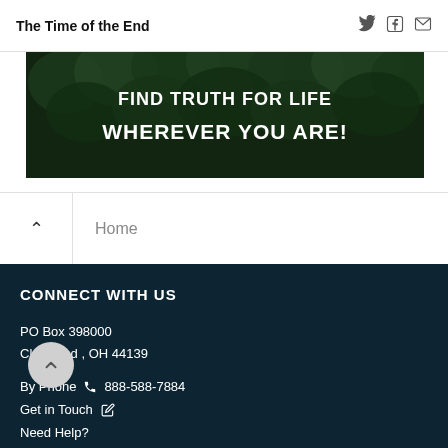The Time of the End
[Figure (photo): Aerial view of green forest trees with bold white text overlay reading 'FIND TRUTH FOR LIFE WHEREVER YOU ARE!']
Home
CONNECT WITH US
PO Box 398000
Cleveland , OH 44139
By Phone 888-588-7884
Get in Touch
Need Help?